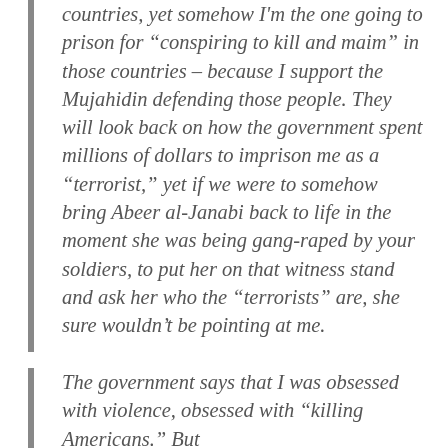countries, yet somehow I'm the one going to prison for “conspiring to kill and maim” in those countries – because I support the Mujahidin defending those people. They will look back on how the government spent millions of dollars to imprison me as a “terrorist,” yet if we were to somehow bring Abeer al-Janabi back to life in the moment she was being gang-raped by your soldiers, to put her on that witness stand and ask her who the “terrorists” are, she sure wouldn’t be pointing at me.
The government says that I was obsessed with violence, obsessed with “killing Americans.” But...